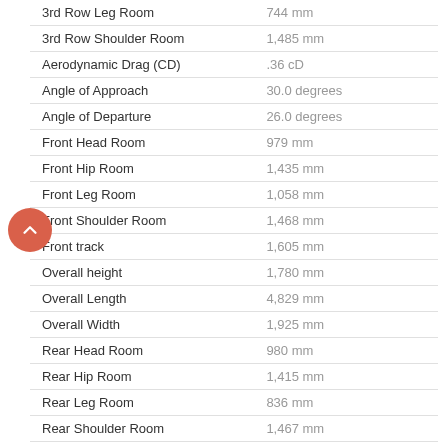| Specification | Value |
| --- | --- |
| 3rd Row Leg Room | 744 mm |
| 3rd Row Shoulder Room | 1,485 mm |
| Aerodynamic Drag (CD) | .36 cD |
| Angle of Approach | 30.0 degrees |
| Angle of Departure | 26.0 degrees |
| Front Head Room | 979 mm |
| Front Hip Room | 1,435 mm |
| Front Leg Room | 1,058 mm |
| Front Shoulder Room | 1,468 mm |
| Front track | 1,605 mm |
| Overall height | 1,780 mm |
| Overall Length | 4,829 mm |
| Overall Width | 1,925 mm |
| Rear Head Room | 980 mm |
| Rear Hip Room | 1,415 mm |
| Rear Leg Room | 836 mm |
| Rear Shoulder Room | 1,467 mm |
| Rear track | 1,605 mm |
| Wheelbase | 2,790 mm |